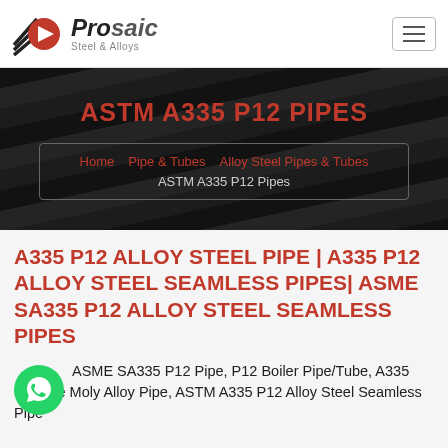Prosaic Steel & Alloys
ASTM A335 P12 PIPES
Home   Pipe & Tubes   Alloy Steel Pipes & Tubes   ASTM A335 P12 Pipes
A335 P12 ALLOY STEEL PIPE | A335 P12 ALLOY STEEL SEAMLESS PIPES| ASME SA335 P12 ALLOY STEEL SEAMLESS PIPES
ASME SA335 P12 Pipe, P12 Boiler Pipe/Tube, A335 Chrome Moly Alloy Pipe, ASTM A335 P12 Alloy Steel Seamless Pipe